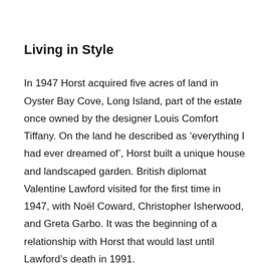Living in Style
In 1947 Horst acquired five acres of land in Oyster Bay Cove, Long Island, part of the estate once owned by the designer Louis Comfort Tiffany. On the land he described as ‘everything I had ever dreamed of’, Horst built a unique house and landscaped garden. British diplomat Valentine Lawford visited for the first time in 1947, with Noël Coward, Christopher Isherwood, and Greta Garbo. It was the beginning of a relationship with Horst that would last until Lawford’s death in 1991.
They welcomed many friends and visitors to Long Island, including the dynamic editor Diana Vreeland. She left